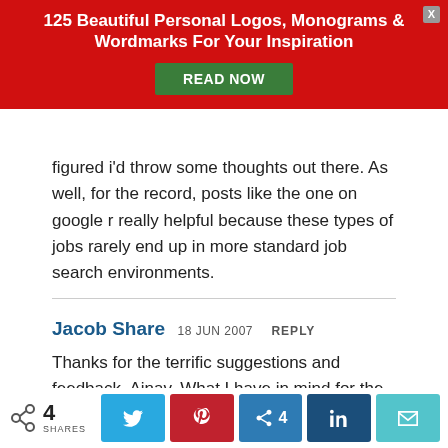[Figure (other): Red promotional banner with title '125 Beautiful Personal Logos, Monograms & Wordmarks For Your Inspiration' and a green 'READ NOW' button, with a close X button in the top right corner.]
figured i'd throw some thoughts out there. As well, for the record, posts like the one on google r really helpful because these types of jobs rarely end up in more standard job search environments.
Jacob Share  18 JUN 2007  REPLY

Thanks for the terrific suggestions and feedback, Ainav. What I have in mind for the JobMobber Profiles is less formal for now – less Jobster or LinkedIn – but perhaps Israeli job seekers can use similar features, just more adapted to their needs.
[Figure (other): Social share bar with share count of 4, Twitter, Pinterest, Kali (with 4 shares), LinkedIn, and email buttons.]